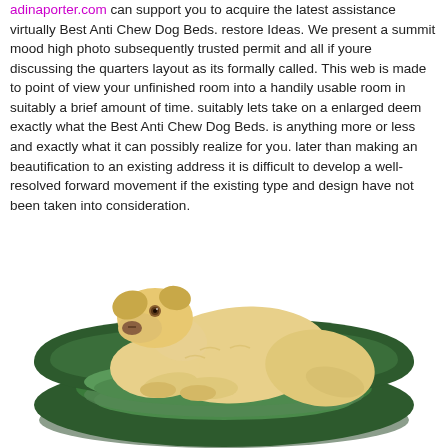adinaporter.com can support you to acquire the latest assistance virtually Best Anti Chew Dog Beds. restore Ideas. We present a summit mood high photo subsequently trusted permit and all if youre discussing the quarters layout as its formally called. This web is made to point of view your unfinished room into a handily usable room in suitably a brief amount of time. suitably lets take on a enlarged deem exactly what the Best Anti Chew Dog Beds. is anything more or less and exactly what it can possibly realize for you. later than making an beautification to an existing address it is difficult to develop a well-resolved forward movement if the existing type and design have not been taken into consideration.
[Figure (photo): A yellow Labrador dog lying inside a large round dark green anti-chew dog bed on a white background.]